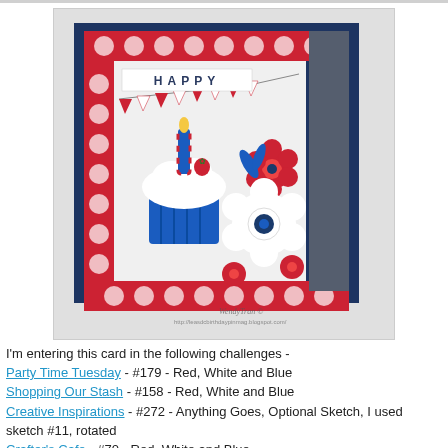[Figure (photo): A handmade birthday card featuring a cupcake with a lit candle, 'Happy Birthday' pennant banner, red/white polka dot border, blue and red flowers, on a gray/navy background. Watermark reads 'WendyTran' with a blog URL.]
I'm entering this card in the following challenges - Party Time Tuesday - #179 - Red, White and Blue Shopping Our Stash - #158 - Red, White and Blue Creative Inspirations - #272 - Anything Goes, Optional Sketch, I used sketch #11, rotated Crafter's Cafe - #70 - Red, White and Blue DRS Designs - #129 - Pennants, Banners and Flags